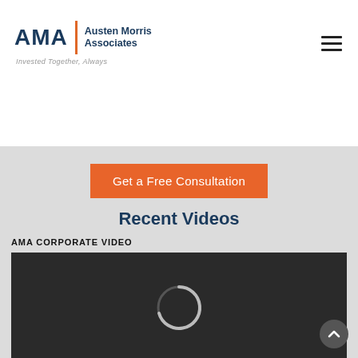[Figure (logo): AMA - Austen Morris Associates logo with tagline 'Invested Together, Always']
[Figure (other): Hamburger menu icon (three horizontal lines) in top right corner]
Get a Free Consultation
Recent Videos
AMA CORPORATE VIDEO
[Figure (screenshot): Video player showing a loading spinner (C-shape arc) on dark background with playback controls showing play button, 0:00 timestamp, volume, fullscreen, and more options icons]